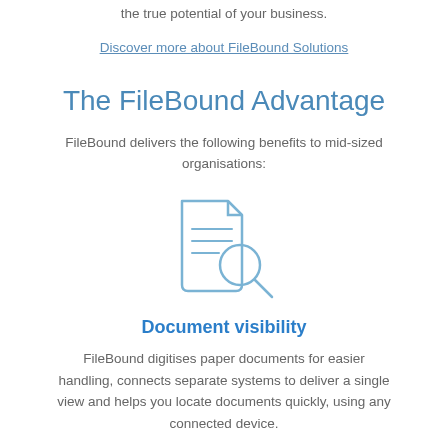the true potential of your business.
Discover more about FileBound Solutions
The FileBound Advantage
FileBound delivers the following benefits to mid-sized organisations:
[Figure (illustration): Icon of a document with lines of text and a magnifying glass overlay, rendered in light blue outline style]
Document visibility
FileBound digitises paper documents for easier handling, connects separate systems to deliver a single view and helps you locate documents quickly, using any connected device.